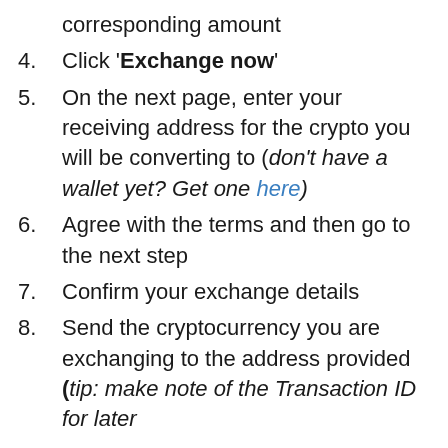corresponding amount
4. Click 'Exchange now'
5. On the next page, enter your receiving address for the crypto you will be converting to (don't have a wallet yet? Get one here)
6. Agree with the terms and then go to the next step
7. Confirm your exchange details
8. Send the cryptocurrency you are exchanging to the address provided (tip: make note of the Transaction ID for later